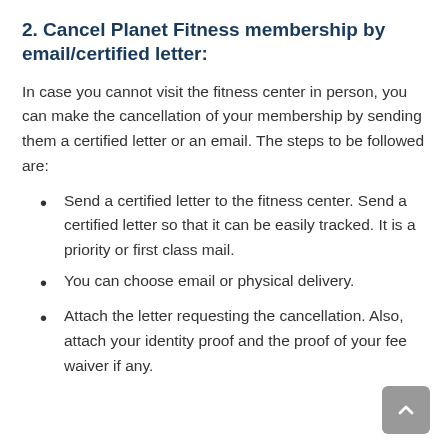2. Cancel Planet Fitness membership by email/certified letter:
In case you cannot visit the fitness center in person, you can make the cancellation of your membership by sending them a certified letter or an email. The steps to be followed are:
Send a certified letter to the fitness center. Send a certified letter so that it can be easily tracked. It is a priority or first class mail.
You can choose email or physical delivery.
Attach the letter requesting the cancellation. Also, attach your identity proof and the proof of your fee waiver if any.